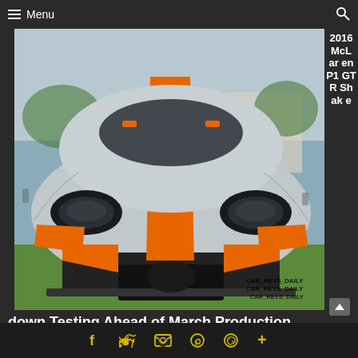≡ Menu
[Figure (photo): Front view of a McLaren P1 GTR race car in silver and orange livery on grass at what appears to be a concours event. Watermark reads CAR_REVS_DAILY.]
2016 McLaren P1 GTR Shakedown Testing Ahead of March Production Debut
[Figure (photo): Partial side view of a white and green race car with Itz Kirb Photography watermark, in front of red brick wall.]
Tren...
f  🐦  ✉  𝒫  ◎  +